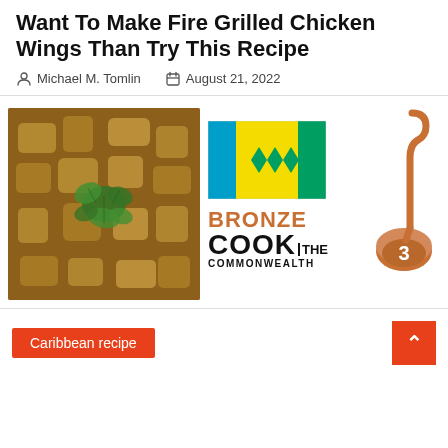Want To Make Fire Grilled Chicken Wings Than Try This Recipe
Michael M. Tomlin   August 21, 2022
[Figure (photo): Close-up food photo of a curry or stew dish with chunks of meat/potato in brown sauce, garnished with fresh green cilantro/coriander leaves. Next to it: the flag of Saint Vincent and the Grenadines (blue, yellow, green vertical stripes with green diamonds), and a 'Bronze Cook The Commonwealth' logo with a ladle illustration and the number 3.]
Caribbean recipe
scroll to top button (^)